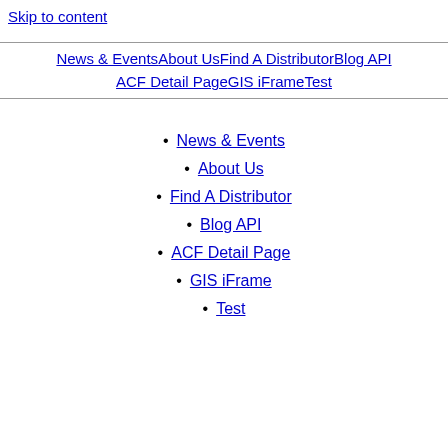Skip to content
News & EventsAbout UsFind A DistributorBlog API ACF Detail PageGIS iFrameTest
News & Events
About Us
Find A Distributor
Blog API
ACF Detail Page
GIS iFrame
Test